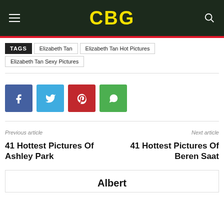CBG
TAGS  Elizabeth Tan  Elizabeth Tan Hot Pictures
Elizabeth Tan Sexy Pictures
[Figure (infographic): Social media share buttons: Facebook (blue), Twitter (light blue), Pinterest (red), WhatsApp (green)]
Previous article
41 Hottest Pictures Of Ashley Park
Next article
41 Hottest Pictures Of Beren Saat
Albert